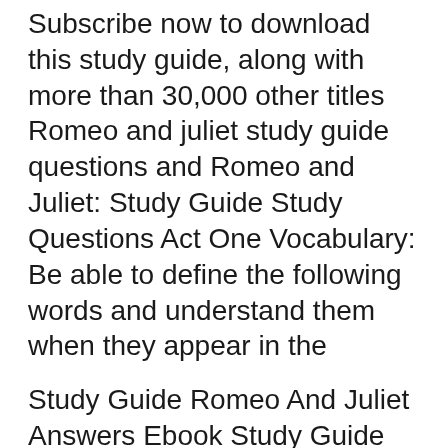Subscribe now to download this study guide, along with more than 30,000 other titles Romeo and juliet study guide questions and Romeo and Juliet: Study Guide Study Questions Act One Vocabulary: Be able to define the following words and understand them when they appear in the
Study Guide Romeo And Juliet Answers Ebook Study Guide Romeo And Juliet Answers currently available at frive2.org for review only, if you need complete ebook Study Download Romeo and Juliet Study Guide Subscribe now to download this study guide, along with more than 30,000 other titles Romeo and juliet study guide questions then...